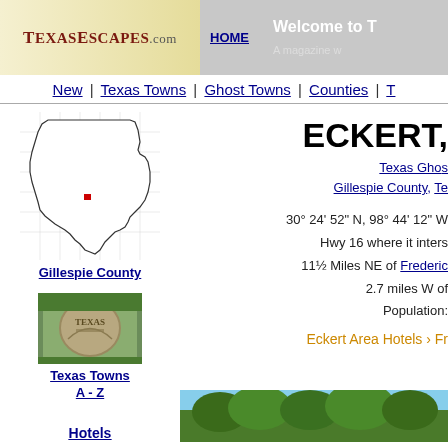TexasEscapes.com | HOME | Welcome to T... A magazine w...
New | Texas Towns | Ghost Towns | Counties | T...
[Figure (map): Outline map of Texas with Gillespie County highlighted with a red square marker]
Gillespie County
[Figure (photo): Photo of a stone Texas marker/sign]
Texas Towns A - Z
ECKERT,
Texas Ghost... Gillespie County, Te...
30° 24' 52" N, 98° 44' 12" W
Hwy 16 where it inters...
11½ Miles NE of Frederic...
2.7 miles W of...
Population:
Eckert Area Hotels › Fr...
Hotels
[Figure (photo): Photo showing trees and blue sky at bottom of page]